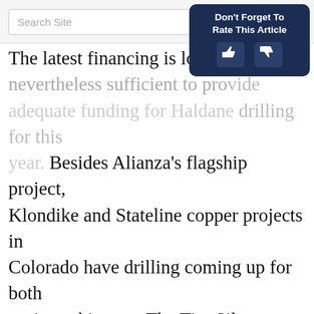Search Site [search bar with icon]
[Figure (other): Don't Forget To Rate This Article button with thumbs up and thumbs down icons on dark navy background]
The latest financing is lower than but nevertheless sufficient to provide adequate funding for Haldane drilling for this year. Besides Alianza's flagship project, Klondike and Stateline copper projects in Colorado have drilling coming up for both projects this year. The Tim Silver project will very likely also see drilling this year by JV partner Coeur Mining. After the first CA$750k was raised, drilling at Haldane can begin soon, and I am curious if Alianza can expand the known mineralization into something significant, which leads to an economic deposit. But they have more irons in the fire for this year. Stay tuned!